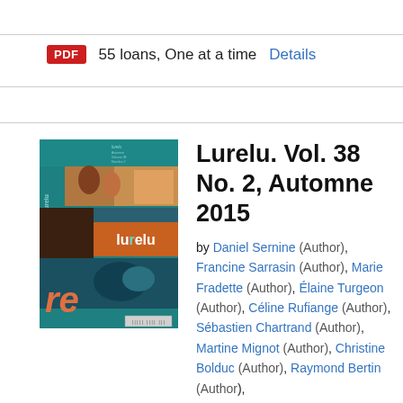PDF  55 loans, One at a time  Details
[Figure (illustration): Book cover for Lurelu Vol. 38 No. 2, Automne 2015 showing colorful illustrated panels on a teal background with the word 'lurelu' in an orange box]
Lurelu. Vol. 38 No. 2, Automne 2015
by Daniel Sernine (Author), Francine Sarrasin (Author), Marie Fradette (Author), Élaine Turgeon (Author), Céline Rufiange (Author), Sébastien Chartrand (Author), Martine Mignot (Author), Christine Bolduc (Author), Raymond Bertin (Author), Nathalie Ferraris (Author)